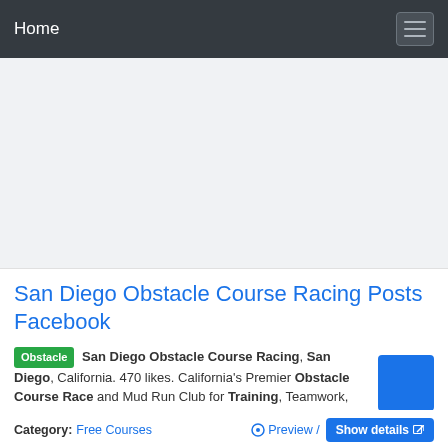Home
[Figure (other): Advertisement / empty gray area placeholder]
San Diego Obstacle Course Racing Posts Facebook
Obstacle San Diego Obstacle Course Racing, San Diego, California. 470 likes. California's Premier Obstacle Course Race and Mud Run Club for Training, Teamwork,
Category: Free Courses  Preview /  Show details